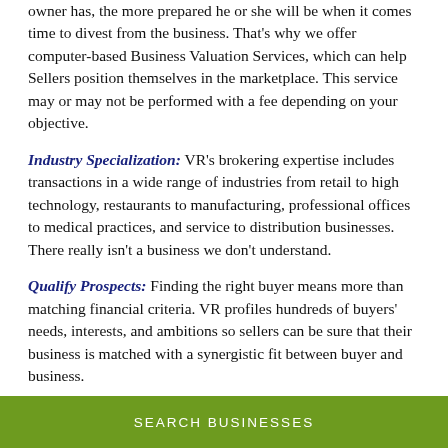owner has, the more prepared he or she will be when it comes time to divest from the business. That's why we offer computer-based Business Valuation Services, which can help Sellers position themselves in the marketplace. This service may or may not be performed with a fee depending on your objective.
Industry Specialization: VR's brokering expertise includes transactions in a wide range of industries from retail to high technology, restaurants to manufacturing, professional offices to medical practices, and service to distribution businesses. There really isn't a business we don't understand.
Qualify Prospects: Finding the right buyer means more than matching financial criteria. VR profiles hundreds of buyers' needs, interests, and ambitions so sellers can be sure that their business is matched with a synergistic fit between buyer and business.
Negotiate the Transaction: VR guides the seller through the complicated contract negotiations and work with other professionals to help put tax, legal, and other business issues in perspective. All actions are documented with VR forms, which have been developed through more than 20 years of practice. The needs of Sellers always come above the experience of VR
SEARCH BUSINESSES